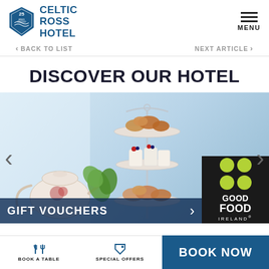[Figure (logo): Celtic Ross Hotel logo with 25 years badge, blue crest, and hotel name text]
MENU
< BACK TO LIST    NEXT ARTICLE >
DISCOVER OUR HOTEL
[Figure (photo): Afternoon tea spread with tiered cake stand showing scones and pastries on top tier, desserts on middle tier, and scones on bottom tier, with floral teapot and green plant in foreground. Good Food Ireland badge overlaid bottom right. Gift Vouchers text banner at bottom.]
GIFT VOUCHERS
BOOK A TABLE    SPECIAL OFFERS    BOOK NOW